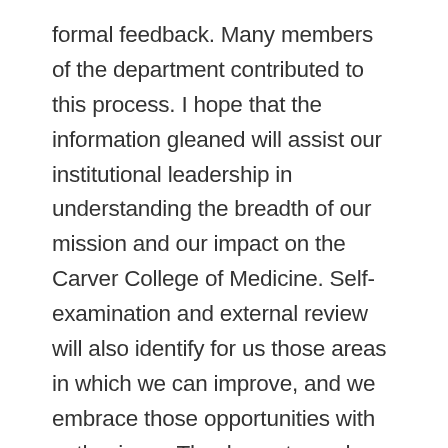formal feedback. Many members of the department contributed to this process. I hope that the information gleaned will assist our institutional leadership in understanding the breadth of our mission and our impact on the Carver College of Medicine. Self-examination and external review will also identify for us those areas in which we can improve, and we embrace those opportunities with enthusiasm. Thank you to each and every one of you for your part in providing the data, testimony, and time in assembling that large volume of data, documenting where we have been and where we are going. That this review has come in the midst of our annual budget process and a university-mandated audit speaks to the capacity of our department's administrative leadership to multi-task and deliver on all fronts. I know these projects produced more than a few late nights and extended meetings. Thanks to